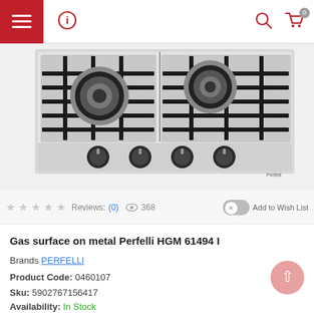Navigation bar with hamburger menu, info icon, search icon, cart icon (0 items)
[Figure (photo): Gas cooktop Perfelli HGM 61494 I shown from above on stainless steel surface with two large burners, black cast iron grates, and four black control knobs on the front]
★★★★★ Reviews: (0) 👁 368 ☆ Add to Wish List
Gas surface on metal Perfelli HGM 61494 I
Brands PERFELLI
Product Code: 0460107
Sku: 5902767156417
Availability: In Stock